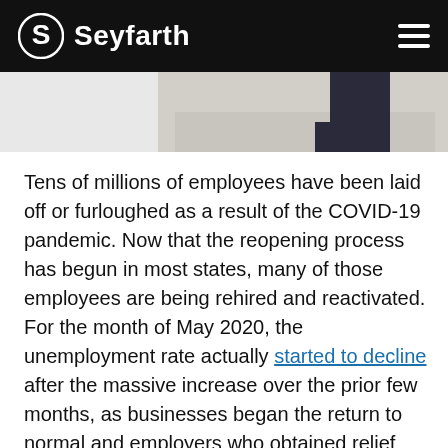Seyfarth
[Figure (photo): Partial photograph of a person, showing lower body/legs, cropped at top of page below header bar.]
Tens of millions of employees have been laid off or furloughed as a result of the COVID-19 pandemic. Now that the reopening process has begun in most states, many of those employees are being rehired and reactivated. For the month of May 2020, the unemployment rate actually started to decline after the massive increase over the prior few months, as businesses began the return to normal and employers who obtained relief from the Paycheck Protection Program (PPP) under the Coronavirus Aid, Relief, and Economic Security Act (CARES Act) restored their workforce members during the